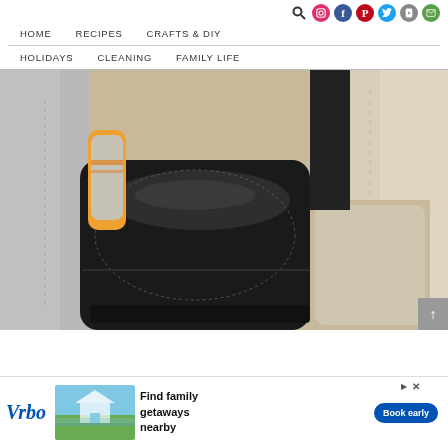Navigation bar with social icons: search, Instagram, Facebook, Pinterest, Twitter, YouTube, Email
HOME   RECIPES   CRAFTS & DIY   HOLIDAYS   CLEANING   FAMILY LIFE
[Figure (photo): Close-up photo of a car interior showing a black leather center console armrest between two beige/cream leather seats, with a water bottle visible in the cup holder area]
[Figure (infographic): Vrbo advertisement banner: 'Find family getaways nearby' with Book early button and house/beach image]